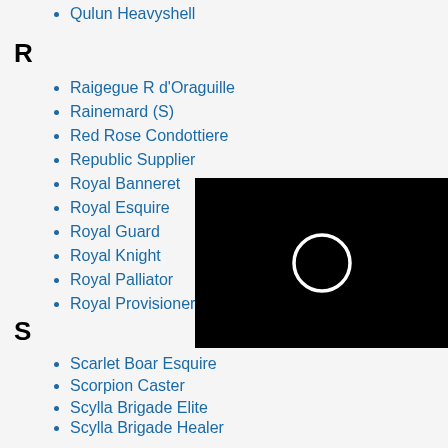Qulun Heavyshell
R
Raigegue R d'Oraguille
Rainemard (S)
Red Rose Condottiere
Republic Supplier
Royal Banneret
Royal Esquire
Royal Guard
Royal Knight
Royal Palliator
Royal Provisioner
S
Scarlet Boar Esquire
Scorpion Caster
Scylla Brigade Elite
Scylla Brigade Healer
Scylla Brigade Officer
Shadowbreath
Shadowbreath Defiler
[Figure (other): Black rectangle with a white circle/ring outline in the center, resembling a loading spinner or eclipse icon.]